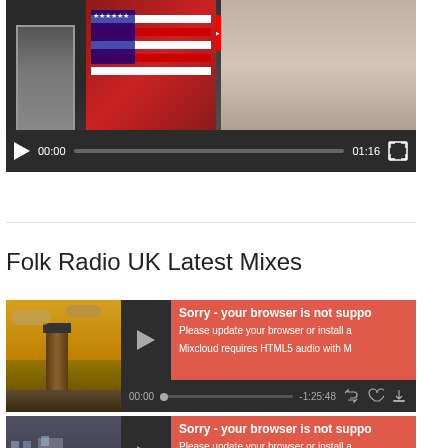[Figure (screenshot): YouTube video player showing two people with an American flag, video controls showing 00:00 / 01:16 with play button and fullscreen icon]
Folk Radio UK Latest Mixes
[Figure (screenshot): Mixcloud audio player with lighthouse thumbnail image, showing browser compatibility error: 'Sorry - your browser is not supported. Please update your browser or install a... Mixcloud requires HTML5 audio with M...' Controls show 00:00 / -1:25:48]
[Figure (screenshot): Second Mixcloud audio player with street scene thumbnail, showing same browser compatibility error: 'Sorry - your browser is not supported. Please update your browser or install a...']